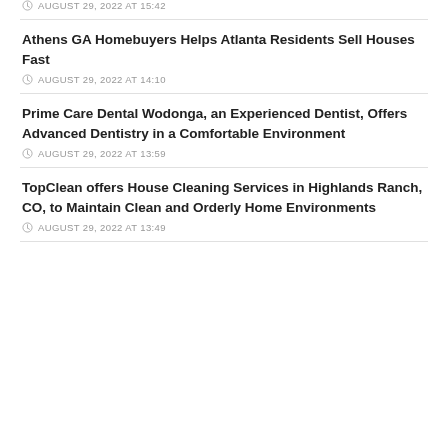AUGUST 29, 2022 AT 15:42
Athens GA Homebuyers Helps Atlanta Residents Sell Houses Fast
AUGUST 29, 2022 AT 14:10
Prime Care Dental Wodonga, an Experienced Dentist, Offers Advanced Dentistry in a Comfortable Environment
AUGUST 29, 2022 AT 13:59
TopClean offers House Cleaning Services in Highlands Ranch, CO, to Maintain Clean and Orderly Home Environments
AUGUST 29, 2022 AT 13:49